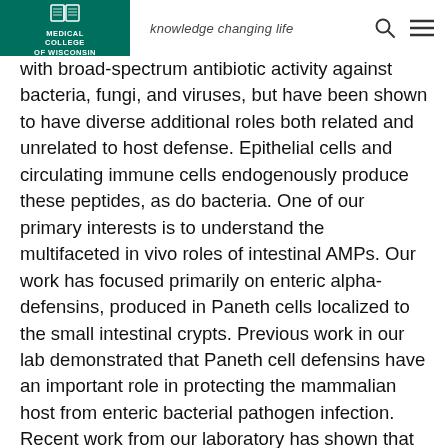knowledge changing life
with broad-spectrum antibiotic activity against bacteria, fungi, and viruses, but have been shown to have diverse additional roles both related and unrelated to host defense. Epithelial cells and circulating immune cells endogenously produce these peptides, as do bacteria. One of our primary interests is to understand the multifaceted in vivo roles of intestinal AMPs. Our work has focused primarily on enteric alpha-defensins, produced in Paneth cells localized to the small intestinal crypts. Previous work in our lab demonstrated that Paneth cell defensins have an important role in protecting the mammalian host from enteric bacterial pathogen infection. Recent work from our laboratory has shown that Paneth cell defensins are essential regulators of the composition of the intestinal microbiota, and can modulate mucosal